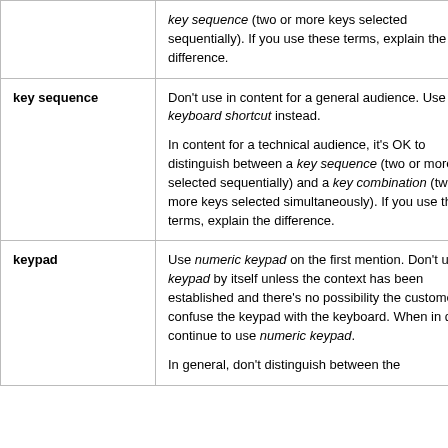| Term | Definition |
| --- | --- |
|  | key sequence (two or more keys selected sequentially). If you use these terms, explain the difference. |
| key sequence | Don't use in content for a general audience. Use keyboard shortcut instead.

In content for a technical audience, it's OK to distinguish between a key sequence (two or more keys selected sequentially) and a key combination (two or more keys selected simultaneously). If you use these terms, explain the difference. |
| keypad | Use numeric keypad on the first mention. Don't use keypad by itself unless the context has been established and there's no possibility the customer will confuse the keypad with the keyboard. When in doubt, continue to use numeric keypad.

In general, don't distinguish between the |